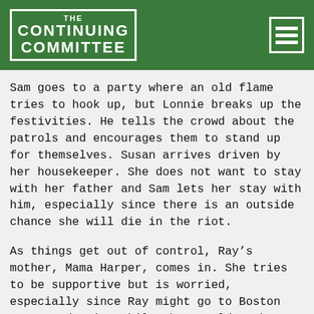THE CONTINUING COMMITTEE
Sam goes to a party where an old flame tries to hook up, but Lonnie breaks up the festivities. He tells the crowd about the patrols and encourages them to stand up for themselves. Susan arrives driven by her housekeeper. She does not want to stay with her father and Sam lets her stay with him, especially since there is an outside chance she will die in the riot.
As things get out of control, Ray’s mother, Mama Harper, comes in. She tries to be supportive but is worried, especially since Ray might go to Boston upon graduation while they would much prefer he do great work in their hometown. Lonnie shows up and one of his friends is hurt. Sam offers to stich him up but while there are medical supplies aroun the best care is at the clinic. They decide that Sa can be of best use there and they head down as a